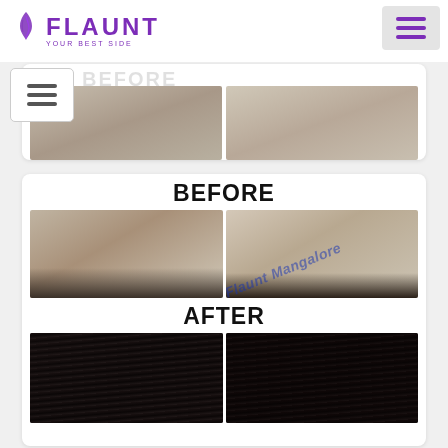[Figure (logo): Flaunt Your Best Side logo with hair icon in purple]
[Figure (photo): Top partial card showing before/after hair treatment photos (cropped top portion visible)]
[Figure (photo): Main before/after card: BEFORE label with two side-view photos showing hair loss, watermark 'Flaunt Mangalore', AFTER label with two photos showing hair after treatment]